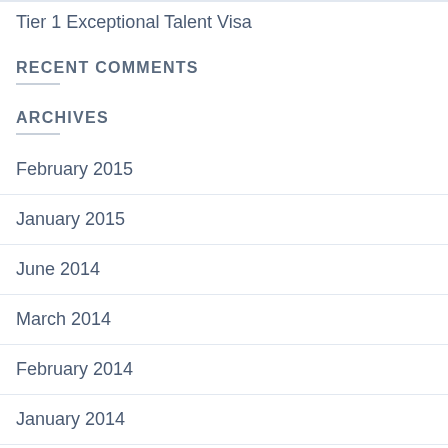Tier 1 Exceptional Talent Visa
RECENT COMMENTS
ARCHIVES
February 2015
January 2015
June 2014
March 2014
February 2014
January 2014
November 2013
October 2013